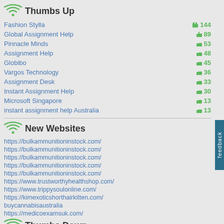Thumbs Up
Fashion Stylla 144
Global Assignment Help 89
Pinnacle Minds 53
Assignment Help 48
Globibo 45
Vargos Technology 36
Assignment Desk 33
Instant Assignment Help 30
Microsoft Singapore 13
instant assignment help Australia 13
New Websites
https://bulkammunitioninstock.com/
https://bulkammunitioninstock.com/
https://bulkammunitioninstock.com/
https://bulkammunitioninstock.com/
https://bulkammunitioninstock.com/
https://www.trustworthyhealthshop.com/
https://www.trippysoulonline.com/
https://kimexoticshorthairkitten.com/
buycannabisaustralia
https://medicoexamsuk.com/
Thumbs Down
Fashion Stylla 11
Siemens India 2
Comtel Singapore 1